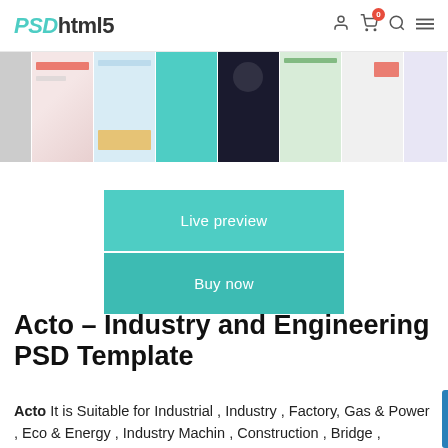PSDhtml5
[Figure (screenshot): Horizontal strip of website template thumbnail previews showing various color schemes including teal, dark, green, and light layouts]
[Figure (screenshot): Two teal/green call-to-action buttons: 'Live preview' and 'Buy now']
Acto – Industry and Engineering PSD Template
Acto It is Suitable for Industrial , Industry , Factory, Gas & Power , Eco & Energy , Industry Machin , Construction , Bridge , building construction , Fabric